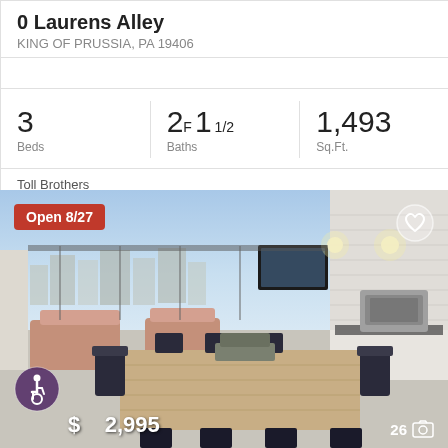0 Laurens Alley
KING OF PRUSSIA, PA 19406
| Beds | Baths | Sq.Ft. |
| --- | --- | --- |
| 3 | 2F 11/2 | 1,493 |
Toll Brothers
[Figure (photo): Rooftop terrace/outdoor kitchen with dining table and seating area, city skyline in background. Badge: Open 8/27. Price: $__2,995. Photo count: 26.]